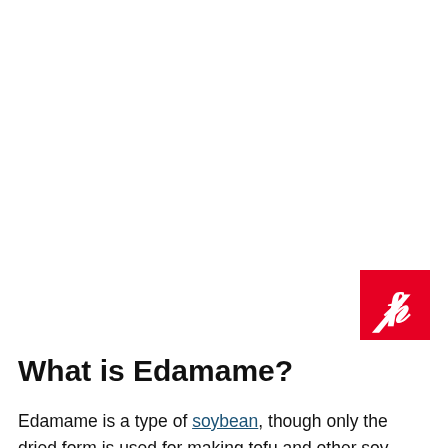[Figure (logo): Pinterest logo button — red square with white cursive P]
What is Edamame?
Edamame is a type of soybean, though only the dried form is used for making tofu and other soy products. The Asian bean has increased in popularity in the United States and become a favorite garden plant.